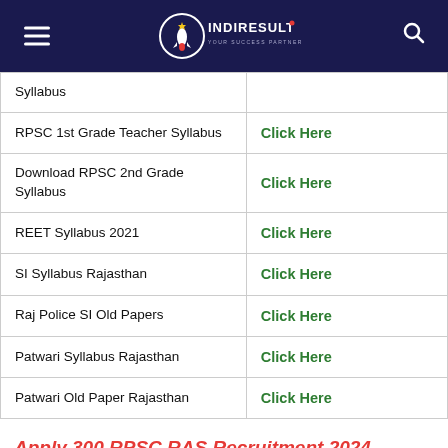INDIRESULT - Your Success Partner
| Topic | Link |
| --- | --- |
| Syllabus |  |
| RPSC 1st Grade Teacher Syllabus | Click Here |
| Download RPSC 2nd Grade Syllabus | Click Here |
| REET Syllabus 2021 | Click Here |
| SI Syllabus Rajasthan | Click Here |
| Raj Police SI Old Papers | Click Here |
| Patwari Syllabus Rajasthan | Click Here |
| Patwari Old Paper Rajasthan | Click Here |
Apply 300 RPSC RAS Recruitment 2024